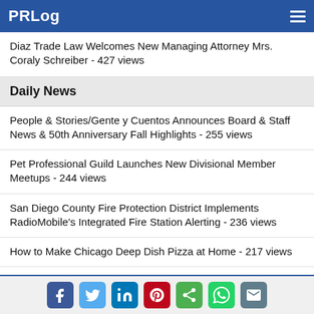PRLog
Diaz Trade Law Welcomes New Managing Attorney Mrs. Coraly Schreiber - 427 views
Daily News
People & Stories/Gente y Cuentos Announces Board & Staff News & 50th Anniversary Fall Highlights - 255 views
Pet Professional Guild Launches New Divisional Member Meetups - 244 views
San Diego County Fire Protection District Implements RadioMobile's Integrated Fire Station Alerting - 236 views
How to Make Chicago Deep Dish Pizza at Home - 217 views
When Aging Out Wins You Multiple Awards - 208 views
Social share icons: Facebook, Twitter, LinkedIn, Pinterest, Share, WhatsApp, Email